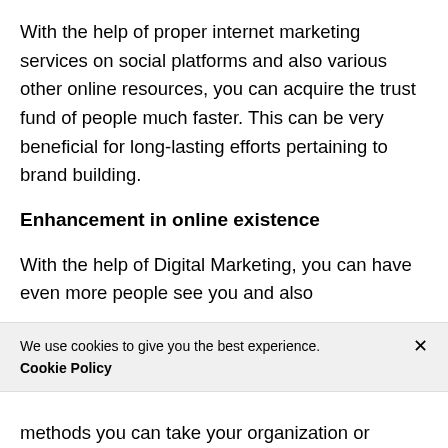With the help of proper internet marketing services on social platforms and also various other online resources, you can acquire the trust fund of people much faster. This can be very beneficial for long-lasting efforts pertaining to brand building.
Enhancement in online existence
With the help of Digital Marketing, you can have even more people see you and also
We use cookies to give you the best experience.
Cookie Policy
methods you can take your organization or